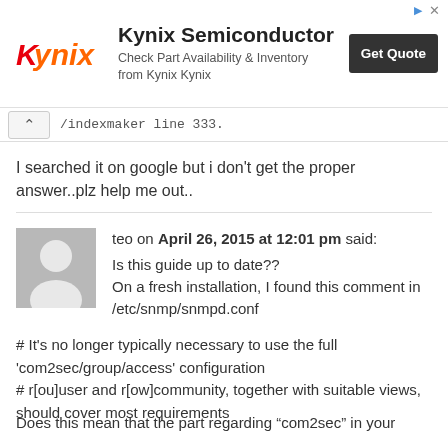[Figure (other): Kynix Semiconductor advertisement banner with logo, text 'Check Part Availability & Inventory from Kynix Kynix', and 'Get Quote' button]
/indexmaker line 333.
I searched it on google but i don't get the proper answer..plz help me out..
teo on April 26, 2015 at 12:01 pm said:
Is this guide up to date??
On a fresh installation, I found this comment in /etc/snmp/snmpd.conf
# It's no longer typically necessary to use the full 'com2sec/group/access' configuration
# r[ou]user and r[ow]community, together with suitable views, should cover most requirements
Does this mean that the part regarding “com2sec” in your guide is obsolete? The answer you gave was (not ...